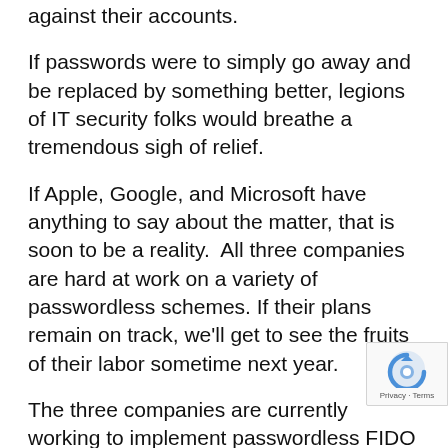against their accounts.
If passwords were to simply go away and be replaced by something better, legions of IT security folks would breathe a tremendous sigh of relief.
If Apple, Google, and Microsoft have anything to say about the matter, that is soon to be a reality.  All three companies are hard at work on a variety of passwordless schemes. If their plans remain on track, we'll get to see the fruits of their labor sometime next year.
The three companies are currently working to implement passwordless FIDO sign-in standards across Android, Chrome, iOS, macOS, Safari, Windows, and Edge.  Taken together, those sy and software packages account for some 90 p of network traffic today. It won't be long now before